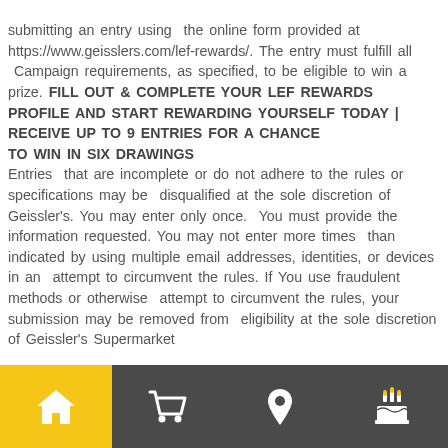submitting an entry using the online form provided at https://www.geisslers.com/lef-rewards/. The entry must fulfill all Campaign requirements, as specified, to be eligible to win a prize. FILL OUT & COMPLETE YOUR LEF REWARDS PROFILE AND START REWARDING YOURSELF TODAY | RECEIVE UP TO 9 ENTRIES FOR A CHANCE TO WIN IN SIX DRAWINGS Entries that are incomplete or do not adhere to the rules or specifications may be disqualified at the sole discretion of Geissler's. You may enter only once. You must provide the information requested. You may not enter more times than indicated by using multiple email addresses, identities, or devices in an attempt to circumvent the rules. If You use fraudulent methods or otherwise attempt to circumvent the rules, your submission may be removed from eligibility at the sole discretion of Geissler's Supermarket
[Figure (infographic): Bottom navigation bar with four icons: house/home (active, yellow background), shopping cart, map pin/location, birthday cake — on dark gray background]